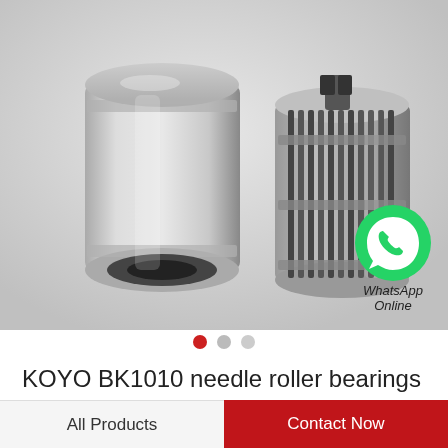[Figure (photo): Two KOYO BK1010 needle roller bearings shown on a light gray background — one closed cylindrical bearing on the left, one open/cutaway bearing showing internal needle rollers on the right. A WhatsApp icon with 'WhatsApp Online' text overlays the bottom-right of the image area.]
KOYO BK1010 needle roller bearings
All Products
Contact Now